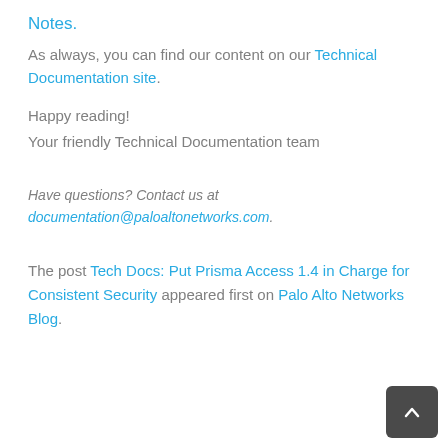Notes.
As always, you can find our content on our Technical Documentation site.
Happy reading!
Your friendly Technical Documentation team
Have questions? Contact us at documentation@paloaltonetworks.com.
The post Tech Docs: Put Prisma Access 1.4 in Charge for Consistent Security appeared first on Palo Alto Networks Blog.